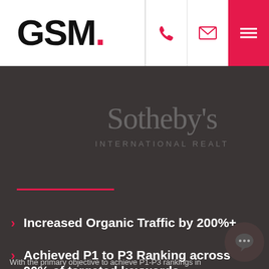GSM.
[Figure (logo): Sotheby's International Realty logo watermark overlaid on dark background]
Increased Organic Traffic by 200%+
Achieved P1 to P3 Ranking across 90% of targeted keywords
With the primary objective to achieve P1-P3 rankings in